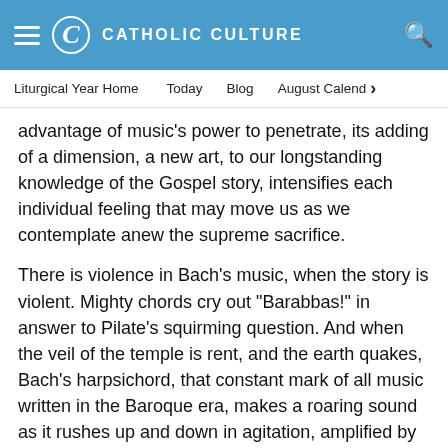CATHOLIC CULTURE
Liturgical Year Home   Today   Blog   August Calendar
advantage of music's power to penetrate, its adding of a dimension, a new art, to our longstanding knowledge of the Gospel story, intensifies each individual feeling that may move us as we contemplate anew the supreme sacrifice.
There is violence in Bach's music, when the story is violent. Mighty chords cry out "Barabbas!" in answer to Pilate's squirming question. And when the veil of the temple is rent, and the earth quakes, Bach's harpsichord, that constant mark of all music written in the Baroque era, makes a roaring sound as it rushes up and down in agitation, amplified by the heavy sounds of the bass viols. There is calm, too, a peace beyond measure, when Bach seeks to describe the quiet of evening after the beloved body has been laid